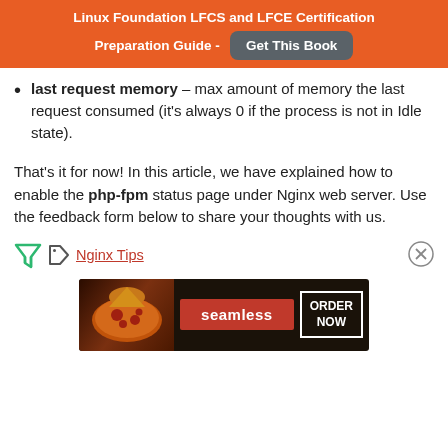Linux Foundation LFCS and LFCE Certification Preparation Guide - Get This Book
last request memory – max amount of memory the last request consumed (it's always 0 if the process is not in Idle state).
That's it for now! In this article, we have explained how to enable the php-fpm status page under Nginx web server. Use the feedback form below to share your thoughts with us.
Nginx Tips
[Figure (other): Seamless food ordering advertisement banner]